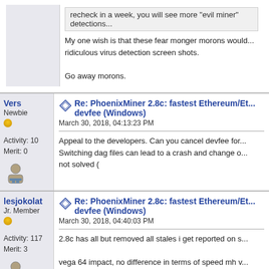recheck in a week, you will see more "evil miner" detections...
My one wish is that these fear monger morons would... ridiculous virus detection screen shots.

Go away morons.
Vers
Newbie
Activity: 10
Merit: 0
Re: PhoenixMiner 2.8c: fastest Ethereum/Et... devfee (Windows)
March 30, 2018, 04:13:23 PM
Appeal to the developers. Can you cancel devfee for... Switching dag files can lead to a crash and change o... not solved (
lesjokolat
Jr. Member
Activity: 117
Merit: 3
Re: PhoenixMiner 2.8c: fastest Ethereum/Et... devfee (Windows)
March 30, 2018, 04:40:03 PM
2.8c has all but removed all stales i get reported on s...

vega 64 impact, no difference in terms of speed mh v... does seem to be lower though when looking at all sh...